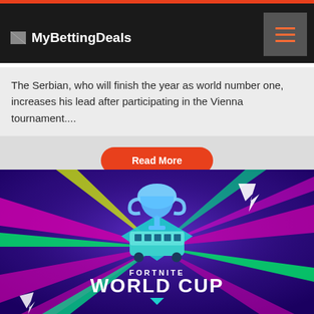MyBettingDeals
The Serbian, who will finish the year as world number one, increases his lead after participating in the Vienna tournament....
[Figure (screenshot): Fortnite World Cup promotional image with a trophy, battle bus, colorful lightning bolts on a purple background, with text FORTNITE WORLD CUP]